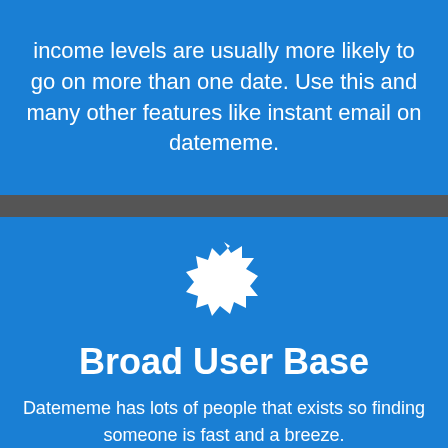income levels are usually more likely to go on more than one date. Use this and many other features like instant email on datememe.
[Figure (illustration): White starburst/gear badge icon on blue background]
Broad User Base
Datememe has lots of people that exists so finding someone is fast and a breeze.
[Figure (illustration): UK Union Jack flag icon]
Free Dating Site in Alfreton